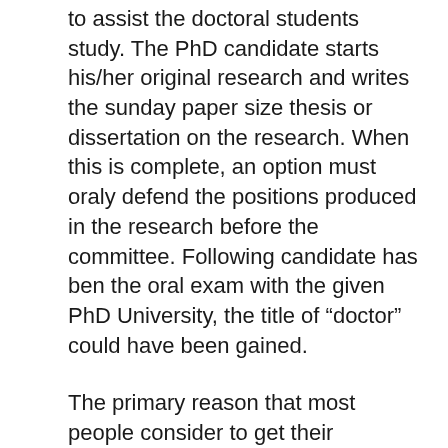to assist the doctoral students study. The PhD candidate starts his/her original research and writes the sunday paper size thesis or dissertation on the research. When this is complete, an option must oraly defend the positions produced in the research before the committee. Following candidate has ben the oral exam with the given PhD University, the title of “doctor” could have been gained.
The primary reason that most people consider to get their master’s degrees is that they’ll make more the more education may get. A master degree exponentially increases your earning durability. Your school system probably has a pay scale that has levels depending on experience and education